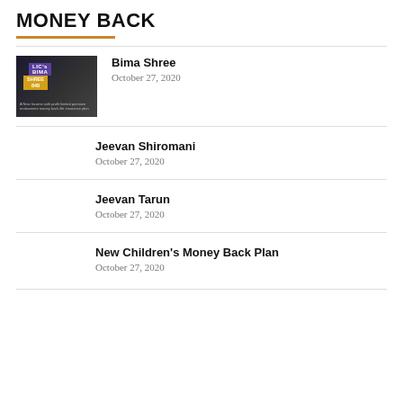MONEY BACK
Bima Shree
October 27, 2020
Jeevan Shiromani
October 27, 2020
Jeevan Tarun
October 27, 2020
New Children's Money Back Plan
October 27, 2020